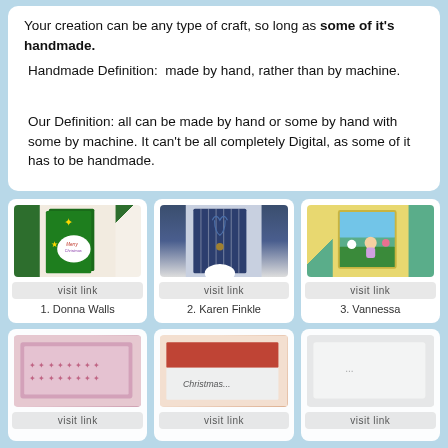Your creation can be any type of craft, so long as some of it's handmade.
 Handmade Definition:  made by hand, rather than by machine.

 Our Definition: all can be made by hand or some by hand with some by machine. It can't be all completely Digital, as some of it has to be handmade.
[Figure (photo): Craft card: green glitter Christmas tree card with gold snowflake and 'Merry Christmas' text on white circle, on wood background]
visit link
1. Donna Walls
[Figure (photo): Craft card: navy blue striped card with embossed botanical/floral design and button embellishment]
visit link
2. Karen Finkle
[Figure (photo): Craft card: colorful card with illustrated fairy/pixie child character among flowers and grass]
visit link
3. Vannessa
[Figure (photo): Craft card: pink/white patterned card, partially visible]
visit link
[Figure (photo): Craft card: orange/red card with Christmas design, partially visible]
visit link
[Figure (photo): Craft card: light gray/white card, partially visible]